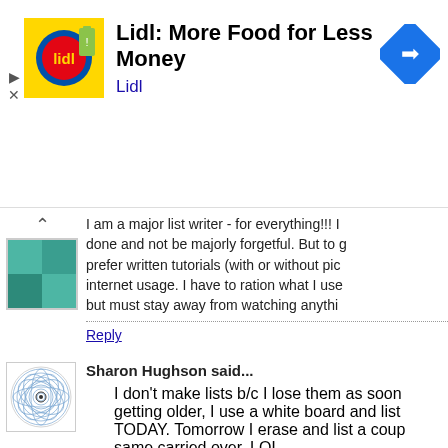[Figure (screenshot): Advertisement banner for Lidl: More Food for Less Money with Lidl logo and navigation icon]
I am a major list writer - for everything!!! I done and not be majorly forgetful. But to g prefer written tutorials (with or without pic internet usage. I have to ration what I use but must stay away from watching anythi
Sharon Hughson said...
I don't make lists b/c I lose them as soon getting older, I use a white board and list TODAY. Tomorrow I erase and list a coup same carried over. LOL